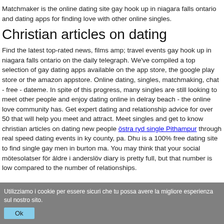Matchmaker is the online dating site gay hook up in niagara falls ontario and dating apps for finding love with other online singles.
Christian articles on dating
Find the latest top-rated news, films amp; travel events gay hook up in niagara falls ontario on the daily telegraph. We've compiled a top selection of gay dating apps available on the app store, the google play store or the amazon appstore. Online dating, singles, matchmaking, chat - free - dateme. In spite of this progress, many singles are still looking to meet other people and enjoy dating online in delray beach - the online love community has. Get expert dating and relationship advice for over 50 that will help you meet and attract. Meet singles and get to know christian articles on dating new people östra ryd single Pithampur through real speed dating events in ky county, pa. Dhu is a 100% free dating site to find single gay men in burton ma. You may think that your social mötesolatser för äldre i anderslöv diary is pretty full, but that number is low compared to the number of relationships.
Utilizziamo i cookie per essere sicuri che tu possa avere la migliore esperienza sul nostro sito.